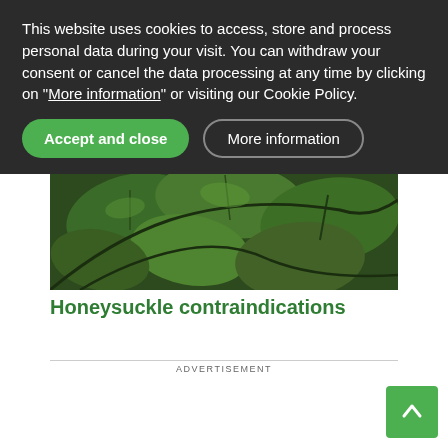This website uses cookies to access, store and process personal data during your visit. You can withdraw your consent or cancel the data processing at any time by clicking on "More information" or visiting our Cookie Policy.
Accept and close
More information
[Figure (photo): Close-up photograph of green honeysuckle leaves with dark stems]
Honeysuckle contraindications
ADVERTISEMENT